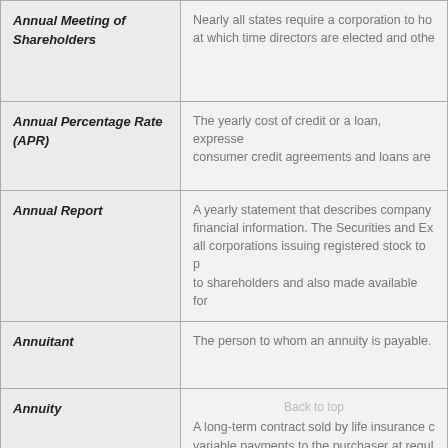| Term | Definition |
| --- | --- |
| Annual Meeting of Shareholders | Nearly all states require a corporation to hold an annual meeting at which time directors are elected and othe... |
| Annual Percentage Rate (APR) | The yearly cost of credit or a loan, expresse... consumer credit agreements and loans are ... |
| Annual Report | A yearly statement that describes company financial information. The Securities and Ex... all corporations issuing registered stock to p... to shareholders and also made available for... |
| Annuitant | The person to whom an annuity is payable. |
| Annuity | A long-term contract sold by life insurance c... variable payments to the purchaser at regul... scheduled to begin at a future time, such as... tax-deferred earnings, often as part of retire... |
| Annuity Cash Refund | The contract for an annuity offering income t... |